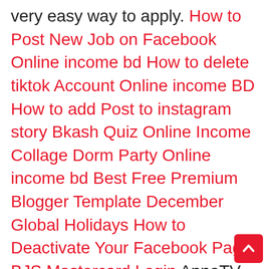very easy way to apply. How to Post New Job on Facebook Online income bd How to delete tiktok Account Online income BD How to add Post to instagram story Bkash Quiz Online Income Collage Dorm Party Online income bd Best Free Premium Blogger Template December Global Holidays How to Deactivate Your Facebook Page BJS Mastercard Login ApneTV Free Movies Watch  2022: ApneTV brings a complete spectrum of TV serials and shows to your interface. Viewers can discover their entertainment preferences in it. ApneTV is the most… ApneTv free Movies watch Onbet365 Login or signup How many ounce in a gallon ফোনেফ্লেক্স Pi Network থেকে ইনকাম করার সবচেয়ে সহজ উপায় ?- How to Earn Money Online income